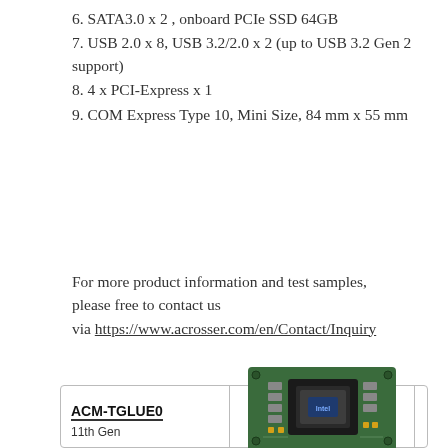6. SATA3.0 x 2 , onboard PCIe SSD 64GB
7. USB 2.0 x 8, USB 3.2/2.0 x 2 (up to USB 3.2 Gen 2 support)
8. 4 x PCI-Express x 1
9. COM Express Type 10, Mini Size, 84 mm x 55 mm
For more product information and test samples, please free to contact us via https://www.acrosser.com/en/Contact/Inquiry
[Figure (photo): ACM-TGLUE0 COM Express Mini board photo showing green PCB with Intel processor chip]